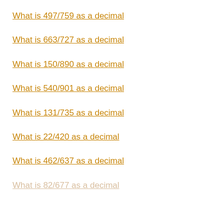What is 497/759 as a decimal
What is 663/727 as a decimal
What is 150/890 as a decimal
What is 540/901 as a decimal
What is 131/735 as a decimal
What is 22/420 as a decimal
What is 462/637 as a decimal
What is 82/677 as a decimal